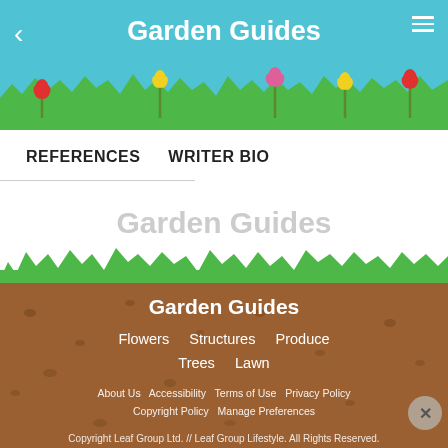Garden Guides
REFERENCES   WRITER BIO
Garden Guides
[Figure (illustration): Decorative garden scene with green grass, colorful tulip flowers (red, yellow, pink), blue sky background, and a small white rabbit character. Used as website header graphic for Garden Guides.]
[Figure (illustration): Green grass silhouette (jagged teeth pattern) at bottom of white content area, transitioning into brown soil footer area with scattered seed/pebble dots.]
Garden Guides
Flowers   Structures   Produce   Trees   Lawn
About Us   Accessibility   Terms of Use   Privacy Policy   Copyright Policy   Manage Preferences   Copyright Leaf Group Ltd. // Leaf Group Lifestyle. All Rights Reserved.